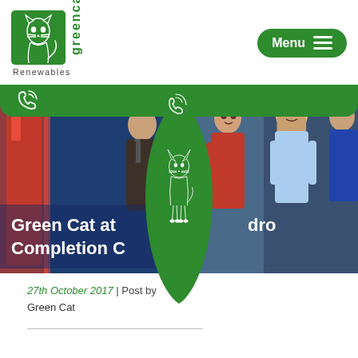[Figure (logo): Green Cat Renewables logo — green square with cat illustration and 'greencat Renewables' text]
[Figure (other): Menu button — dark green rounded button with 'Menu' text and three horizontal lines icon]
[Figure (other): Green navigation bar with phone icon]
[Figure (photo): Hero banner photo showing group of people (professionals in business and outdoor wear), overlaid with large green cat teardrop/drop shape logo and bold white title text 'Green Cat at ...dro Completion C...']
27th October 2017 | Post by Green Cat
[Figure (other): Horizontal divider line]